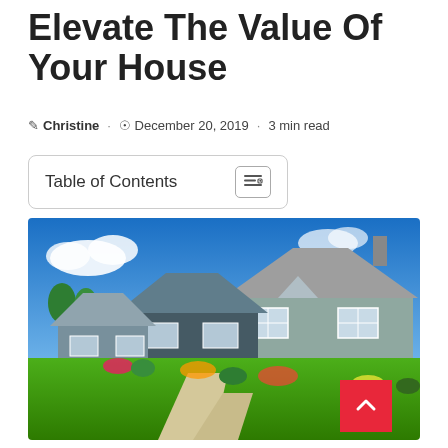Elevate The Value Of Your House
Christine · December 20, 2019 · 3 min read
| Table of Contents |
| --- |
[Figure (photo): Suburban neighborhood with large craftsman-style homes featuring green lawns, white porch railings, and a blue sky with clouds. Multiple houses visible with a sidewalk in the foreground.]